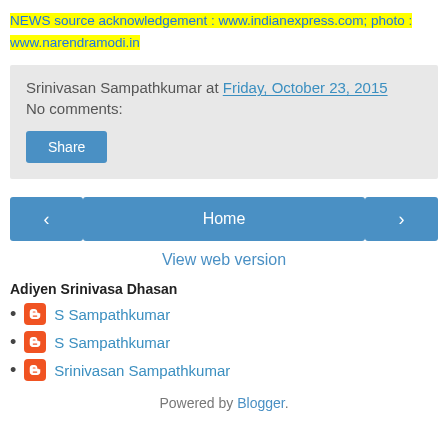NEWS source acknowledgement : www.indianexpress.com; photo : www.narendramodi.in
Srinivasan Sampathkumar at Friday, October 23, 2015
No comments:
Share
< Home >
View web version
Adiyen Srinivasa Dhasan
S Sampathkumar
S Sampathkumar
Srinivasan Sampathkumar
Powered by Blogger.